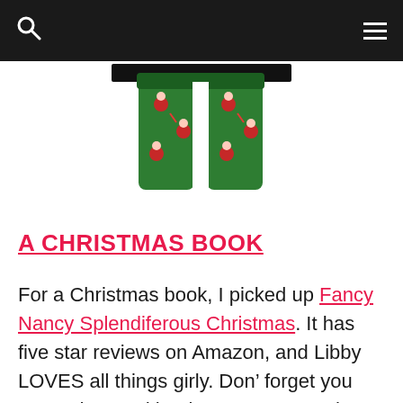[Figure (photo): Green Christmas-themed pajama pants with Santa Claus pattern, shown from mid-torso down, displayed against white background]
A CHRISTMAS BOOK
For a Christmas book, I picked up Fancy Nancy Splendiferous Christmas. It has five star reviews on Amazon, and Libby LOVES all things girly. Don't forget you can order used books on Amazon. That's what I did. It came it good condition and saved some money. Libby's still rough on her